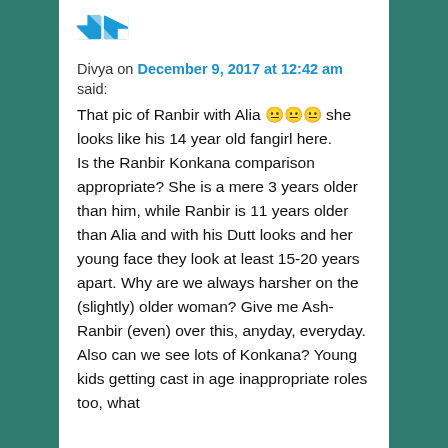[Figure (other): Avatar icon — two overlapping square tiles with blue and teal patterns]
Divya on December 9, 2017 at 12:42 am said:
That pic of Ranbir with Alia 😐😐😐 she looks like his 14 year old fangirl here.
Is the Ranbir Konkana comparison appropriate? She is a mere 3 years older than him, while Ranbir is 11 years older than Alia and with his Dutt looks and her young face they look at least 15-20 years apart. Why are we always harsher on the (slightly) older woman? Give me Ash-Ranbir (even) over this, anyday, everyday. Also can we see lots of Konkana? Young kids getting cast in age inappropriate roles too, what